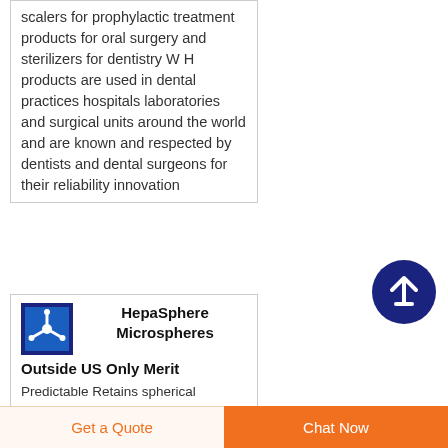scalers for prophylactic treatment products for oral surgery and sterilizers for dentistry W H products are used in dental practices hospitals laboratories and surgical units around the world and are known and respected by dentists and dental surgeons for their reliability innovation
[Figure (other): Dark navy circle with white upward arrow icon — scroll-to-top button]
[Figure (logo): HepaSphere product logo: blue square with white microsphere/molecule icon]
HepaSphere Microspheres Outside US Only Merit
Predictable Retains spherical
Get a Quote
Chat Now